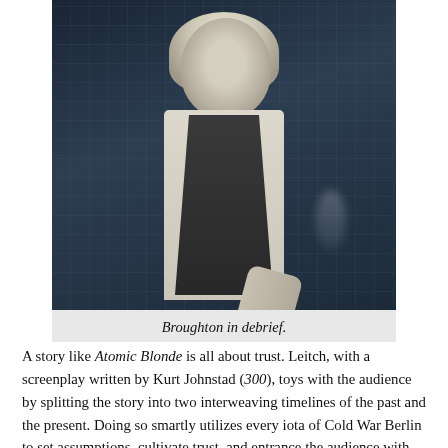[Figure (photo): A woman (Broughton) with blonde hair wearing a white shirt and dark vest, seated in a dimly lit room with a grid/chain-link background, dark and moody cinematic lighting.]
Broughton in debrief.
A story like Atomic Blonde is all about trust. Leitch, with a screenplay written by Kurt Johnstad (300), toys with the audience by splitting the story into two interweaving timelines of the past and the present. Doing so smartly utilizes every iota of Cold War Berlin to set assumptions, cultivate trust, and entrance the audience with '80s nostalgia, all while brilliantly playing a shell game right before our eyes. In the present, Broughton engages in a debrief with her mission superiors which provides exposition, along with giving the audience a rest from the actions of the past. Theron, Jones, and Goodman play off of each other